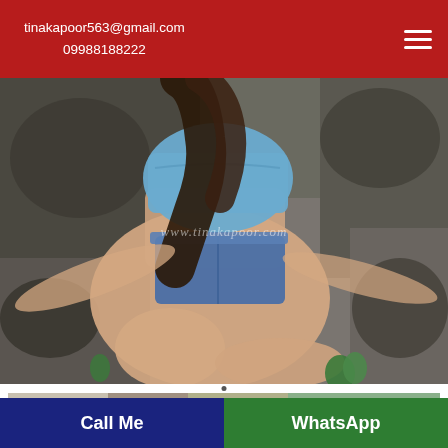tinakapoor563@gmail.com
09988188222
[Figure (photo): Young woman in blue crop top and denim shorts lying on rocky ground. Watermark: www.tinakapoor.com]
[Figure (photo): Partial view of a second photo at the bottom of the page]
Call Me | WhatsApp